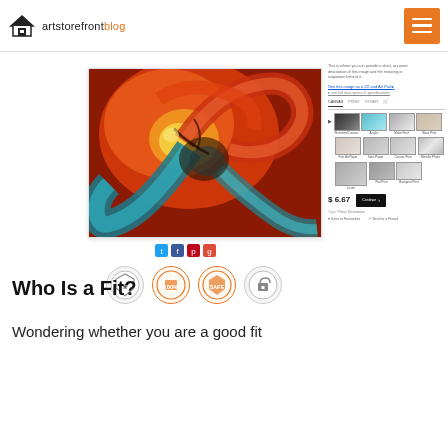artstorefronis blog
[Figure (screenshot): Art store website product page showing an abstract fractal artwork with swirling red, orange, and teal patterns. Right side shows product options, thumbnails for canvas/paper types, price $6.67 and Continue button. Social share icons below the artwork. Trust badges shown below.]
Who Is a Fit?
Wondering whether you are a good fit